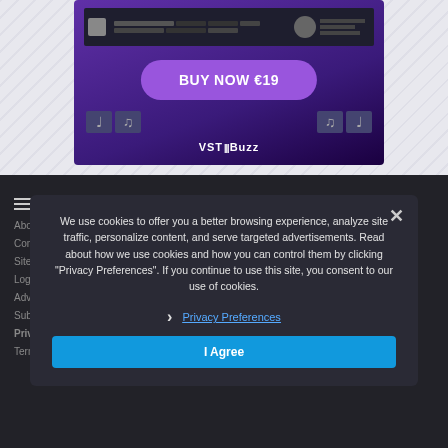[Figure (screenshot): Advertisement for 'Viola Da Samba' VST plugin showing a 'BUY NOW €19' button and VSTBuzz branding on a dark purple background]
We use cookies to offer you a better browsing experience, analyze site traffic, personalize content, and serve targeted advertisements. Read about how we use cookies and how you can control them by clicking "Privacy Preferences". If you continue to use this site, you consent to our use of cookies.
Privacy Preferences
I Agree
About
Contact
Sitemap
Login
Advertise
Submission
Privacy Policy
Terms and Conditions